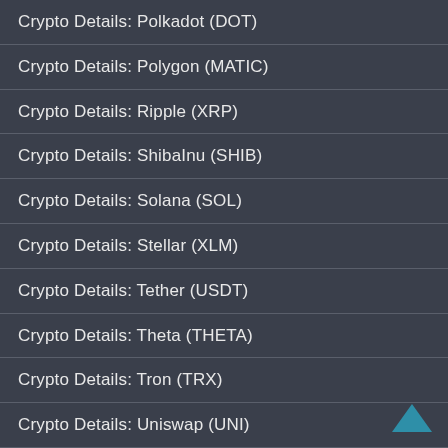Crypto Details: Polkadot (DOT)
Crypto Details: Polygon (MATIC)
Crypto Details: Ripple (XRP)
Crypto Details: ShibaInu (SHIB)
Crypto Details: Solana (SOL)
Crypto Details: Stellar (XLM)
Crypto Details: Tether (USDT)
Crypto Details: Theta (THETA)
Crypto Details: Tron (TRX)
Crypto Details: Uniswap (UNI)
Crypto Details: USD Coin (USDC)
Crypto Details: Vechain (VET)
Privacy Policy